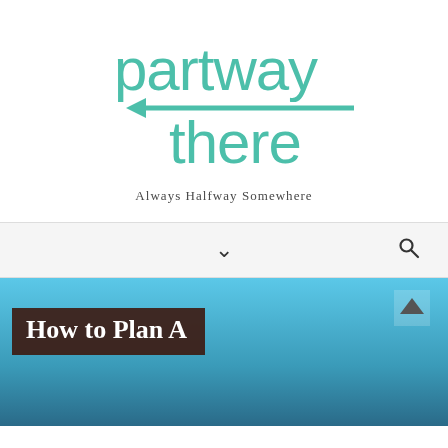[Figure (logo): Partway There blog logo in teal/green color with arrow motif. Text reads 'partway there' in large lowercase letters with a left-pointing arrow graphic between the two words.]
Always Halfway Somewhere
[Figure (screenshot): Navigation bar with a downward chevron icon centered and a search (magnifying glass) icon on the right, on a light gray background.]
[Figure (photo): Article preview image showing a blue sky background with a dark brown/maroon title box overlay reading 'How to Plan A'. There is an upward chevron arrow icon on the upper right of the image area.]